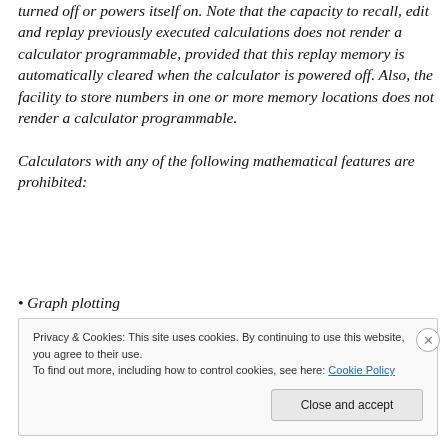turned off or powers itself on. Note that the capacity to recall, edit and replay previously executed calculations does not render a calculator programmable, provided that this replay memory is automatically cleared when the calculator is powered off. Also, the facility to store numbers in one or more memory locations does not render a calculator programmable.
Calculators with any of the following mathematical features are prohibited:
• Graph plotting
Privacy & Cookies: This site uses cookies. By continuing to use this website, you agree to their use.
To find out more, including how to control cookies, see here: Cookie Policy